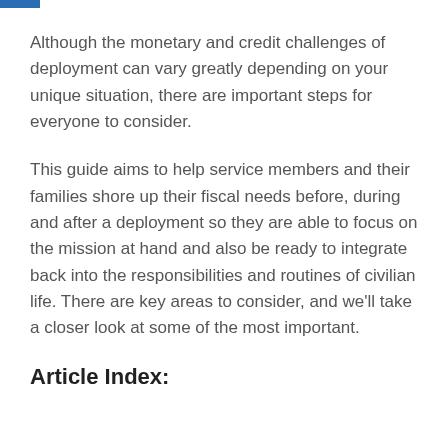Although the monetary and credit challenges of deployment can vary greatly depending on your unique situation, there are important steps for everyone to consider.
This guide aims to help service members and their families shore up their fiscal needs before, during and after a deployment so they are able to focus on the mission at hand and also be ready to integrate back into the responsibilities and routines of civilian life. There are key areas to consider, and we'll take a closer look at some of the most important.
Article Index: